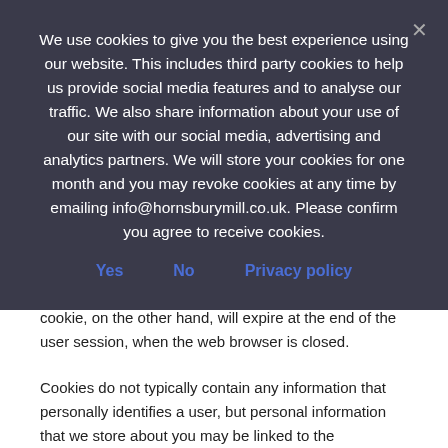We use cookies to give you the best experience using our website. This includes third party cookies to help us provide social media features and to analyse our traffic. We also share information about your use of our site with our social media, advertising and analytics partners. We will store your cookies for one month and you may revoke cookies at any time by emailing info@hornsburymill.co.uk. Please confirm you agree to receive cookies.
Yes   No   Privacy policy
and will remain valid until its set expiry date, unless deleted by the user before the expiry date; a session cookie, on the other hand, will expire at the end of the user session, when the web browser is closed.
Cookies do not typically contain any information that personally identifies a user, but personal information that we store about you may be linked to the information stored in and obtained from cookies.
Cookies that we use